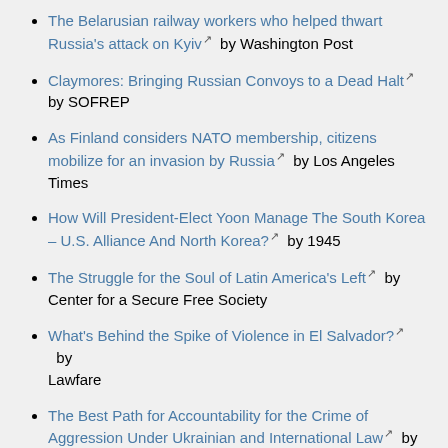The Belarusian railway workers who helped thwart Russia's attack on Kyiv [ext] by Washington Post
Claymores: Bringing Russian Convoys to a Dead Halt [ext] by SOFREP
As Finland considers NATO membership, citizens mobilize for an invasion by Russia [ext] by Los Angeles Times
How Will President-Elect Yoon Manage The South Korea – U.S. Alliance And North Korea? [ext] by 1945
The Struggle for the Soul of Latin America's Left [ext] by Center for a Secure Free Society
What's Behind the Spike of Violence in El Salvador? [ext] by Lawfare
The Best Path for Accountability for the Crime of Aggression Under Ukrainian and International Law [ext] by Just Security
Looking for answers: accounting for the separated, missing and dead in international armed conflicts [ext] by Humanitarian Law & Policy